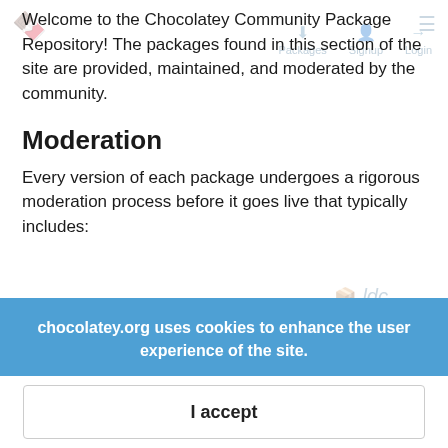Welcome to the Chocolatey Community Package Repository! The packages found in this section of the site are provided, maintained, and moderated by the community.
Moderation
Every version of each package undergoes a rigorous moderation process before it goes live that typically includes:
Security, consistency, and quality checking
Installation testing
Virus checking through VirusTotal
chocolatey.org uses cookies to enhance the user experience of the site.
I accept